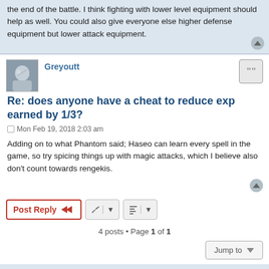the end of the battle. I think fighting with lower level equipment should help as well. You could also give everyone else higher defense equipment but lower attack equipment.
Greyoutt
Re: does anyone have a cheat to reduce exp earned by 1/3?
Mon Feb 19, 2018 2:03 am
Adding on to what Phantom said; Haseo can learn every spell in the game, so try spicing things up with magic attacks, which I believe also don't count towards rengekis.
4 posts • Page 1 of 1
Jump to
Board index   Contact us   Delete cookies   All times are UTC-05:00
Powered by phpBB® Forum Software © phpBB Limited
Privacy | Terms